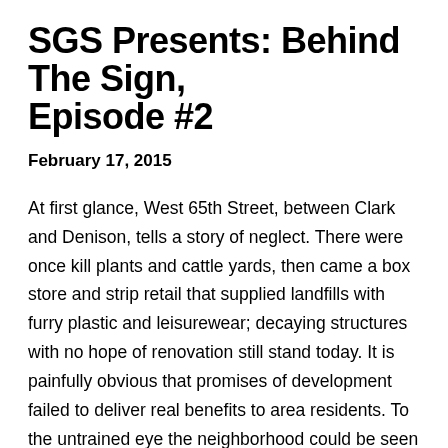SGS Presents: Behind The Sign, Episode #2
February 17, 2015
At first glance, West 65th Street, between Clark and Denison, tells a story of neglect. There were once kill plants and cattle yards, then came a box store and strip retail that supplied landfills with furry plastic and leisurewear; decaying structures with no hope of renovation still stand today. It is painfully obvious that promises of development failed to deliver real benefits to area residents. To the untrained eye the neighborhood could be seen as testament to the failures of capitalism, however, hidden in plain sight is one of the greatest success stories of Cleveland's west side, the story of Don McMahan.